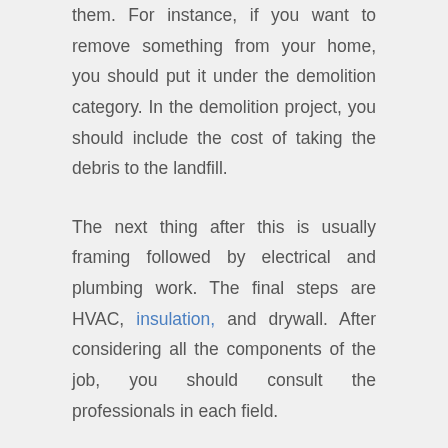them. For instance, if you want to remove something from your home, you should put it under the demolition category. In the demolition project, you should include the cost of taking the debris to the landfill.
The next thing after this is usually framing followed by electrical and plumbing work. The final steps are HVAC, insulation, and drywall. After considering all the components of the job, you should consult the professionals in each field.
For every little job, you should add the cost of labor and materials. Considering every step of the process will